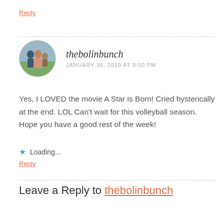Reply
[Figure (photo): Circular avatar photo of a family group (man, woman, child) outdoors with dashed border]
thebolinbunch
JANUARY 30, 2019 AT 9:00 PM
Yes, I LOVED the movie A Star is Born! Cried hysterically at the end. LOL Can't wait for this volleyball season. Hope you have a good rest of the week!
★ Loading...
Reply
Leave a Reply to thebolinbunch